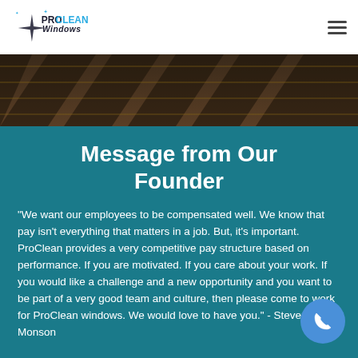ProClean Windows
[Figure (photo): Overhead view of wooden window frames or slats with shadows, dark tonal image]
Message from Our Founder
"We want our employees to be compensated well. We know that pay isn't everything that matters in a job. But, it's important. ProClean provides a very competitive pay structure based on performance. If you are motivated. If you care about your work. If you would like a challenge and a new opportunity and you want to be part of a very good team and culture, then please come to work for ProClean windows. We would love to have you." - Steven Monson